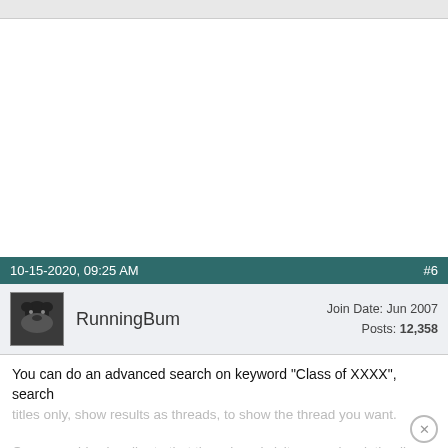10-15-2020, 09:25 AM  #6
RunningBum  Join Date: Jun 2007  Posts: 12,358
You can do an advanced search on keyword "Class of XXXX", search titles only, show results as threads, to show the thread you want.
Or you could subscribe to that thread, and visit your subscription li...